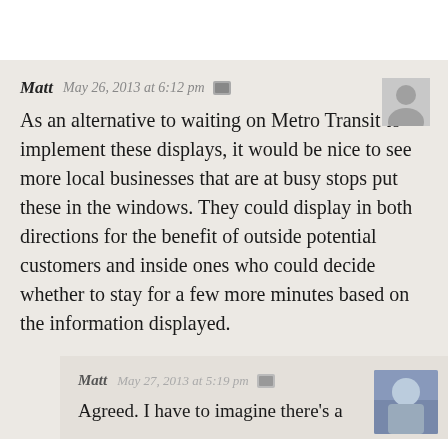Matt  May 26, 2013 at 6:12 pm
As an alternative to waiting on Metro Transit to implement these displays, it would be nice to see more local businesses that are at busy stops put these in the windows. They could display in both directions for the benefit of outside potential customers and inside ones who could decide whether to stay for a few more minutes based on the information displayed.
Matt  May 27, 2013 at 5:19 pm
Agreed. I have to imagine there's a